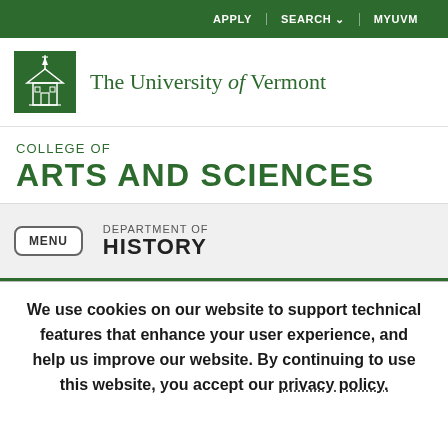APPLY | SEARCH | MYUVM
[Figure (logo): University of Vermont logo — white church/building illustration on green square background]
The University of Vermont
COLLEGE OF ARTS AND SCIENCES
DEPARTMENT OF HISTORY
We use cookies on our website to support technical features that enhance your user experience, and help us improve our website. By continuing to use this website, you accept our privacy policy.